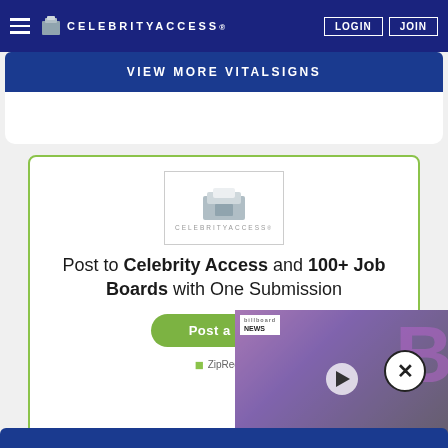CELEBRITYACCESS | LOGIN | JOIN
VIEW MORE VITALSIGNS
[Figure (logo): CelebrityAccess logo in white box]
Post to Celebrity Access and 100+ Job Boards with One Submission
Post a Job
ZipRecruiter
[Figure (photo): Billboard News video overlay showing two people, with play button]